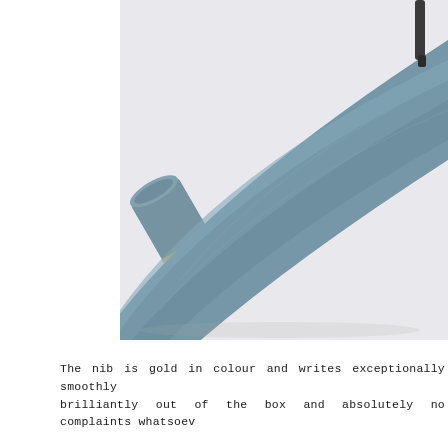[Figure (photo): Close-up photograph of a blue-grey fountain pen with its cap removed, showing a gold nib and gold accent band. The cap lies nearby with the pen body extending diagonally across a white surface.]
The nib is gold in colour and writes exceptionally smoothly brilliantly out of the box and absolutely no complaints whatsoev